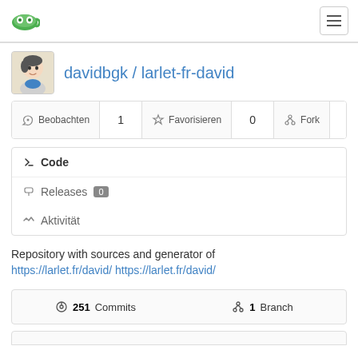Gitea logo and hamburger menu navigation
davidbgk / larlet-fr-david
Beobachten 1  Favorisieren 0  Fork 0
Code
Releases 0
Aktivität
Repository with sources and generator of https://larlet.fr/david/ https://larlet.fr/david/
251 Commits  1 Branch